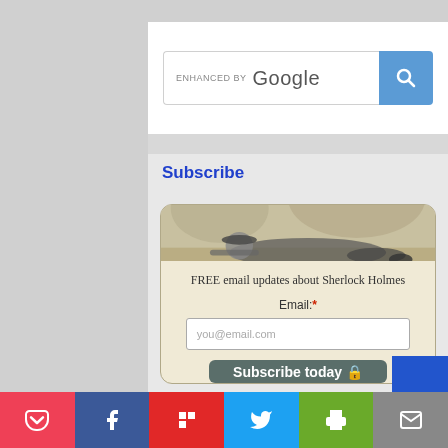[Figure (screenshot): Google enhanced search box with blue search button and magnifying glass icon]
Subscribe
[Figure (illustration): Vintage Sherlock Holmes illustration showing a man lying prone, looking through something]
FREE email updates about Sherlock Holmes
Email:*
you@email.com
Subscribe today 🔒
[Figure (infographic): Social sharing bar with Pocket, Facebook, Flipboard, Twitter, Print, and Email buttons]